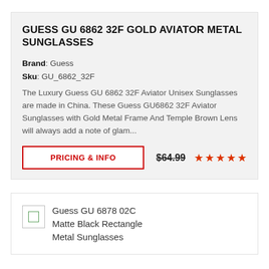GUESS GU 6862 32F GOLD AVIATOR METAL SUNGLASSES
Brand: Guess
Sku: GU_6862_32F
The Luxury Guess GU 6862 32F Aviator Unisex Sunglasses are made in China. These Guess GU6862 32F Aviator Sunglasses with Gold Metal Frame And Temple Brown Lens will always add a note of glam...
PRICING & INFO   $64.99   ★★★★★
[Figure (photo): Broken image placeholder with green icon for Guess GU 6878 02C Matte Black Rectangle Metal Sunglasses]
Guess GU 6878 02C Matte Black Rectangle Metal Sunglasses